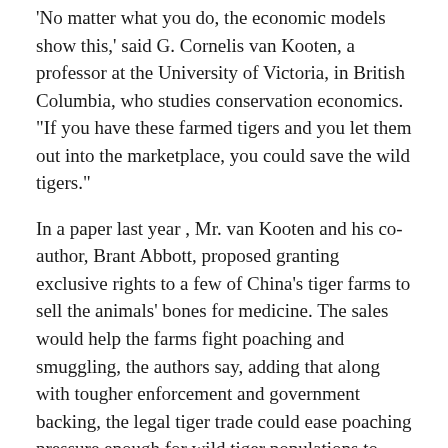'No matter what you do, the economic models show this,' said G. Cornelis van Kooten, a professor at the University of Victoria, in British Columbia, who studies conservation economics. "If you have these farmed tigers and you let them out into the marketplace, you could save the wild tigers."
In a paper last year , Mr. van Kooten and his co-author, Brant Abbott, proposed granting exclusive rights to a few of China's tiger farms to sell the animals' bones for medicine. The sales would help the farms fight poaching and smuggling, the authors say, adding that along with tougher enforcement and government backing, the legal tiger trade could ease poaching pressure enough for wild tiger populations to recover.
Many disagree with this thinking. "Proponents of tiger farming have based their support on flawed assumptions and on studies which do not fully grasp or reflect the realities of the illegal wildlife trade," said the Environmental Investigation Agency, a non-profit wildlife group. Many conservationists favor closing